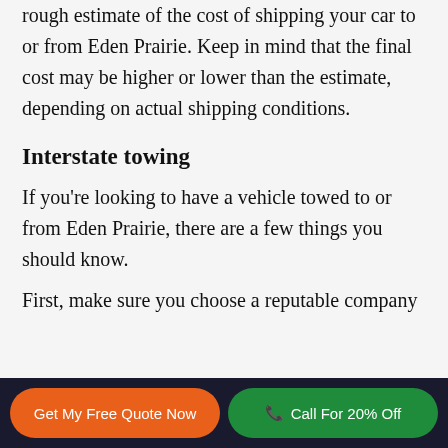A good online shipping calculator can give you a rough estimate of the cost of shipping your car to or from Eden Prairie. Keep in mind that the final cost may be higher or lower than the estimate, depending on actual shipping conditions.
Interstate towing
If you're looking to have a vehicle towed to or from Eden Prairie, there are a few things you should know.
First, make sure you choose a reputable company
Get My Free Quote Now | Call For 20% Off